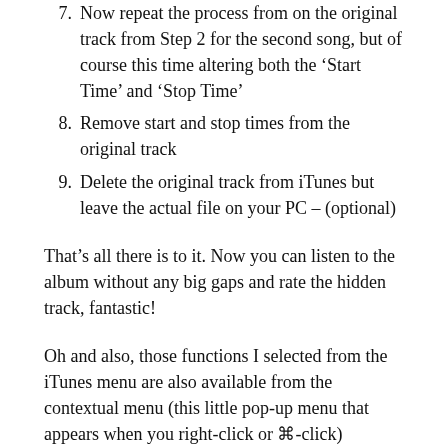7. Now repeat the process from on the original track from Step 2 for the second song, but of course this time altering both the ‘Start Time’ and ‘Stop Time’
8. Remove start and stop times from the original track
9. Delete the original track from iTunes but leave the actual file on your PC – (optional)
That’s all there is to it. Now you can listen to the album without any big gaps and rate the hidden track, fantastic!
Oh and also, those functions I selected from the iTunes menu are also available from the contextual menu (this little pop-up menu that appears when you right-click or ⌘-click)